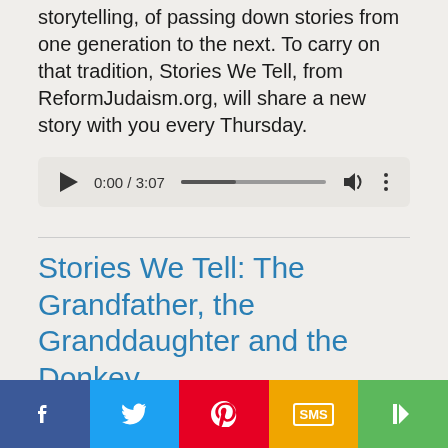storytelling, of passing down stories from one generation to the next. To carry on that tradition, Stories We Tell, from ReformJudaism.org, will share a new story with you every Thursday.
[Figure (screenshot): An audio player widget showing a play button, time display 0:00 / 3:07, a progress bar, volume icon, and more-options icon on a light grey background.]
Stories We Tell: The Grandfather, the Granddaughter and the Donkey
Stories We Tell
An old grandfather and his young granddaughter go
[Figure (infographic): Social sharing bar with five buttons: Facebook (dark blue, f), Twitter (light blue, bird icon), Pinterest (red, P), SMS (yellow/orange, SMS label), Share (green, share icon).]